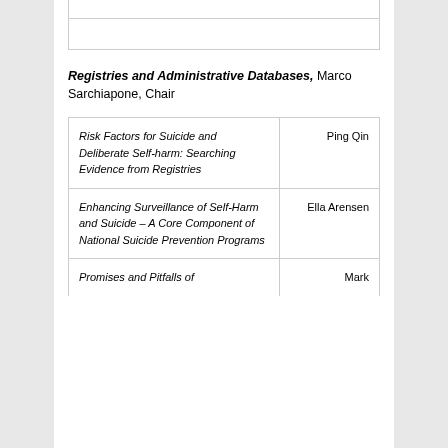|  |  |
|  |  |
Registries and Administrative Databases, Marco Sarchiapone, Chair
| Risk Factors for Suicide and Deliberate Self-harm: Searching Evidence from Registries | Ping Qin |
| Enhancing Surveillance of Self-Harm and Suicide – A Core Component of National Suicide Prevention Programs | Ella Arensen |
| Promises and Pitfalls of | Mark |